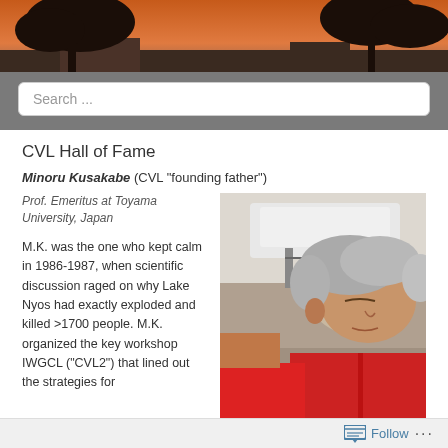[Figure (photo): Website header photo showing trees and buildings at sunset/dusk with orange sky]
Search ...
CVL Hall of Fame
Minoru Kusakabe (CVL “founding father”)
Prof. Emeritus at Toyama University, Japan
M.K. was the one who kept calm in 1986-1987, when scientific discussion raged on why Lake Nyos had exactly exploded and killed >1700 people. M.K. organized the key workshop IWGCL (“CVL2”) that lined out the strategies for
[Figure (photo): Photo of an elderly Japanese man in a red jacket examining scientific equipment outdoors]
Follow ...